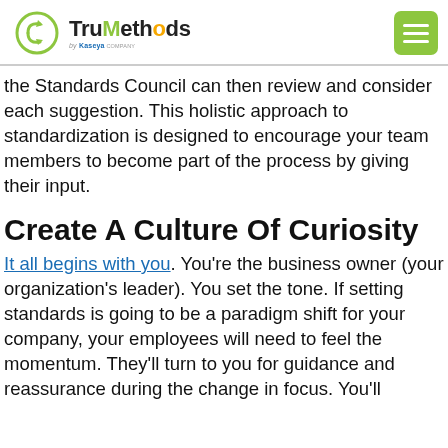TruMethods by Kaseya
the Standards Council can then review and consider each suggestion. This holistic approach to standardization is designed to encourage your team members to become part of the process by giving their input.
Create A Culture Of Curiosity
It all begins with you. You're the business owner (your organization's leader). You set the tone. If setting standards is going to be a paradigm shift for your company, your employees will need to feel the momentum. They'll turn to you for guidance and reassurance during the change in focus. You'll